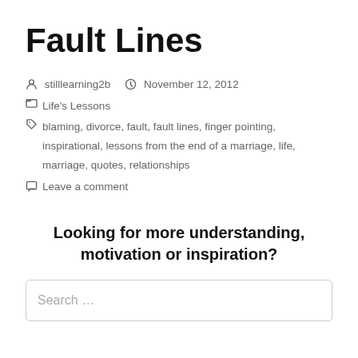Fault Lines
stilllearning2b   November 12, 2012
Life's Lessons
blaming, divorce, fault, fault lines, finger pointing, inspirational, lessons from the end of a marriage, life, marriage, quotes, relationships
Leave a comment
Looking for more understanding, motivation or inspiration?
Search ...